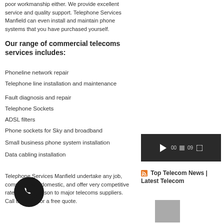poor workmanship either. We provide excellent service and quality support. Telephone Services Manfield can even install and maintain phone systems that you have purchased yourself.
Our range of commercial telecoms services includes:
Phoneline network repair
Telephone line installation and maintenance
Fault diagnosis and repair
Telephone Sockets
ADSL filters
Phone sockets for Sky and broadband
Small business phone system installation
Data cabling installation
Telephone Services Manfield undertake any job, commercial or domestic, and offer very competitive rates in comparison to major telecoms suppliers. Call us today for a free quote.
Telephone Sockets
ADSL filters
Phone sockets for Sky
And broadband
Small business phone system installation
Data cabling installation
[Figure (screenshot): Video player thumbnail with dark background showing play button, stop button, time counter showing 09, and fullscreen button]
Top Telecom News | Latest Telecom